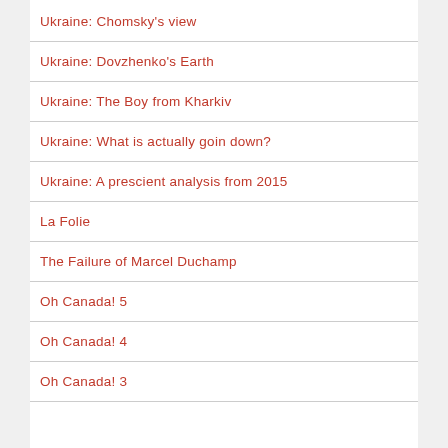Ukraine: Chomsky's view
Ukraine: Dovzhenko's Earth
Ukraine: The Boy from Kharkiv
Ukraine: What is actually goin down?
Ukraine: A prescient analysis from 2015
La Folie
The Failure of Marcel Duchamp
Oh Canada! 5
Oh Canada! 4
Oh Canada! 3